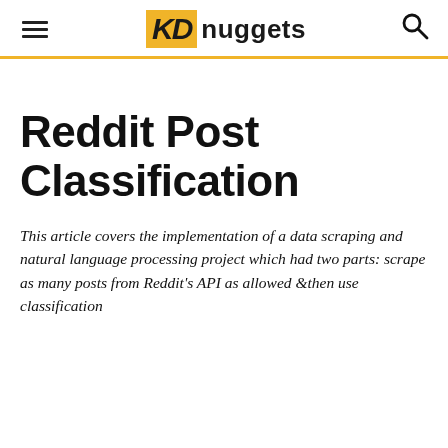KD nuggets
Reddit Post Classification
This article covers the implementation of a data scraping and natural language processing project which had two parts: scrape as many posts from Reddit's API as allowed &then use classification